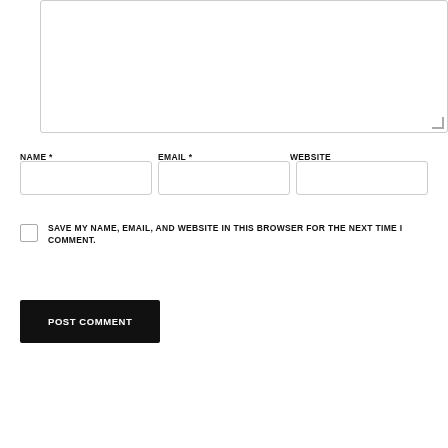[Figure (screenshot): A comment form textarea (large empty text input box) with resize handle at bottom-right corner]
NAME *
EMAIL *
WEBSITE
[Figure (screenshot): Three form input fields side by side: NAME, EMAIL, WEBSITE]
SAVE MY NAME, EMAIL, AND WEBSITE IN THIS BROWSER FOR THE NEXT TIME I COMMENT.
POST COMMENT